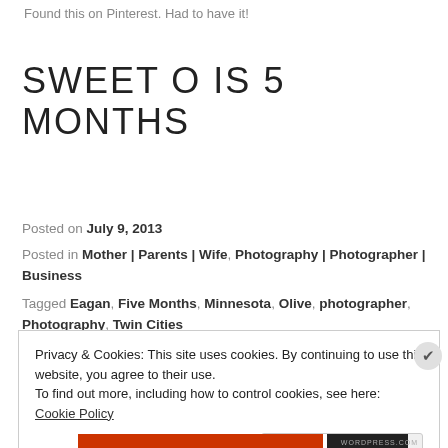Found this on Pinterest.  Had to have it!
SWEET O IS 5 MONTHS
Posted on July 9, 2013
Posted in Mother | Parents | Wife, Photography | Photographer | Business
Tagged Eagan, Five Months, Minnesota, Olive, photographer, Photography, Twin Cities
Privacy & Cookies: This site uses cookies. By continuing to use this website, you agree to their use.
To find out more, including how to control cookies, see here: Cookie Policy
Close and accept